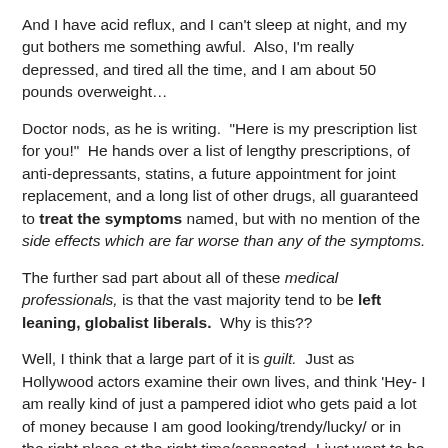And I have acid reflux, and I can't sleep at night, and my gut bothers me something awful.  Also, I'm really depressed, and tired all the time, and I am about 50 pounds overweight…
Doctor nods, as he is writing.  "Here is my prescription list for you!"  He hands over a list of lengthy prescriptions, of anti-depressants, statins, a future appointment for joint replacement, and a long list of other drugs, all guaranteed to treat the symptoms named, but with no mention of the side effects which are far worse than any of the symptoms.
The further sad part about all of these medical professionals, is that the vast majority tend to be left leaning, globalist liberals.  Why is this??
Well, I think that a large part of it is guilt.  Just as Hollywood actors examine their own lives, and think 'Hey- I am really kind of just a pampered idiot who gets paid a lot of money because I am good looking/trendy/lucky/ or in the right place at the right time/connected- I just want to be valued for my goodness!"